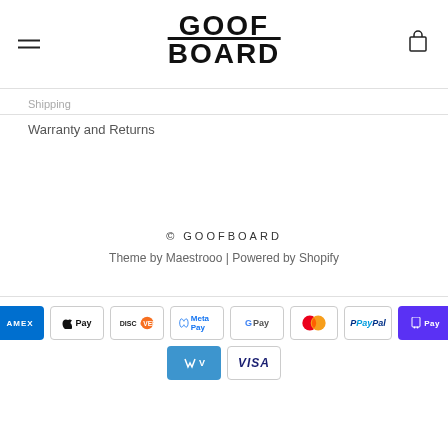[Figure (logo): GoofBoard logo with GOOF text above a horizontal line and BOARD text below]
Shipping
Warranty and Returns
© GOOFBOARD
Theme by Maestrooo | Powered by Shopify
[Figure (other): Payment method icons: American Express, Apple Pay, Discover, Meta Pay, Google Pay, Mastercard, PayPal, Shop Pay, Venmo, Visa]